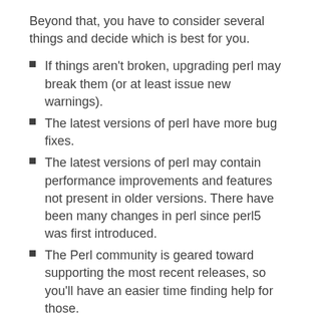Beyond that, you have to consider several things and decide which is best for you.
If things aren't broken, upgrading perl may break them (or at least issue new warnings).
The latest versions of perl have more bug fixes.
The latest versions of perl may contain performance improvements and features not present in older versions. There have been many changes in perl since perl5 was first introduced.
The Perl community is geared toward supporting the most recent releases, so you'll have an easier time finding help for those.
Older versions of perl may have security vulnerabilities, some of which are serious (see perlsec and search CVEs for more information).
The latest versions are probably the least deployed and widely tested, so you may want to wait a few months after their release and see what problems others have if you are risk averse.
The immediate addition to the more portable...